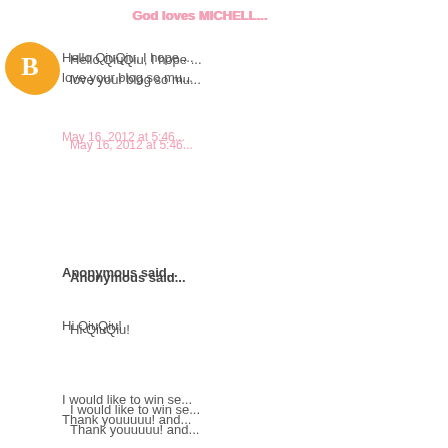God loves MICHELL...
[Figure (illustration): Orange circle avatar with blogger 'B' icon]
Hello QiuQiu, I hope ... love your blog so mu...
May 16, 2012 at 5:46...
Anonymous said...
Hi QiuQiu!
I would like to win se... Thank youuuuu! and...
@jolyntyw
May 16, 2012 at 5:47...
Anonymous said...
Hi QiuQiu!
I would like to win se... Thank youuuuu! and...
@jolyntyw
May 16, 2012 at 5:47...